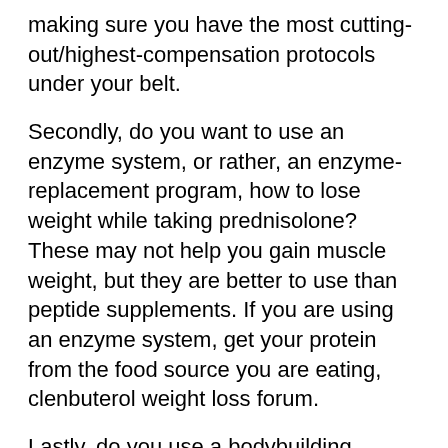making sure you have the most cutting-out/highest-compensation protocols under your belt.
Secondly, do you want to use an enzyme system, or rather, an enzyme-replacement program, how to lose weight while taking prednisolone? These may not help you gain muscle weight, but they are better to use than peptide supplements. If you are using an enzyme system, get your protein from the food source you are eating, clenbuterol weight loss forum.
Lastly, do you use a bodybuilding program? If so, then you should be aware of whether you should be getting lots of fast carbs in your diet—they should be slow digesting—or getting some slow carbs—as is the case for many types of